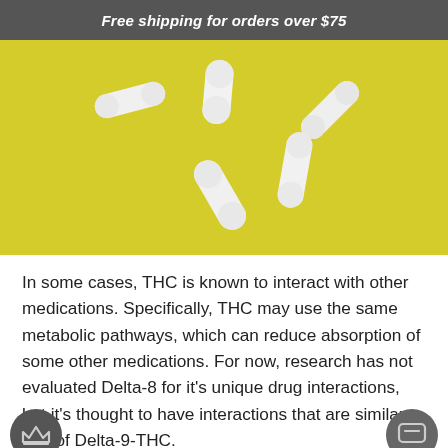Free shipping for orders over $75
[Figure (photo): Several white capsule pills scattered on a yellow background]
In some cases, THC is known to interact with other medications. Specifically, THC may use the same metabolic pathways, which can reduce absorption of some other medications. For now, research has not evaluated Delta-8 for it's unique drug interactions, but it's thought to have interactions that are similar to that of Delta-9-THC.